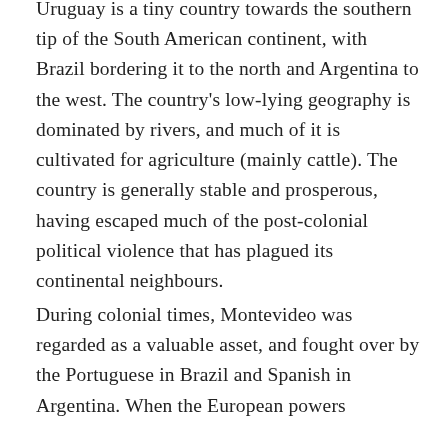Uruguay is a tiny country towards the southern tip of the South American continent, with Brazil bordering it to the north and Argentina to the west. The country's low-lying geography is dominated by rivers, and much of it is cultivated for agriculture (mainly cattle). The country is generally stable and prosperous, having escaped much of the post-colonial political violence that has plagued its continental neighbours.
During colonial times, Montevideo was regarded as a valuable asset, and fought over by the Portuguese in Brazil and Spanish in Argentina. When the European powers